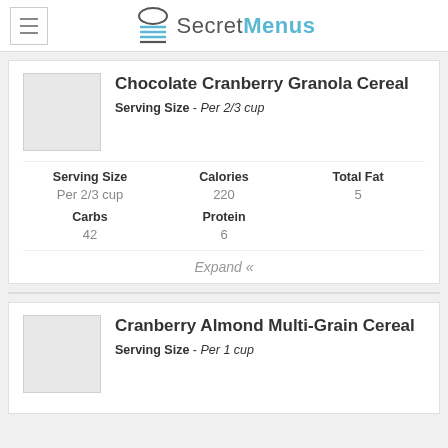SecretMenus
Chocolate Cranberry Granola Cereal
Serving Size - Per 2/3 cup
| Serving Size | Calories | Total Fat |
| --- | --- | --- |
| Per 2/3 cup | 220 | 5 |
| Carbs | Protein |  |
| 42 | 6 |  |
Expand «
Cranberry Almond Multi-Grain Cereal
Serving Size - Per 1 cup